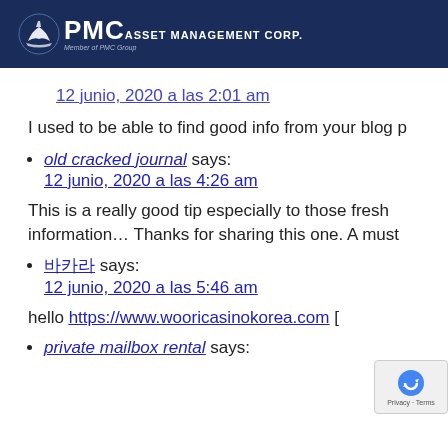[Figure (logo): PMC Asset Management Corp. logo with ship icon on dark blue background]
12 junio, 2020 a las 2:01 am
I used to be able to find good info from your blog p
old cracked journal says: 12 junio, 2020 a las 4:26 am
This is a really good tip especially to those fresh information… Thanks for sharing this one. A must
바카라 says: 12 junio, 2020 a las 5:46 am
hello https://www.wooricasinokorea.com [
private mailbox rental says: